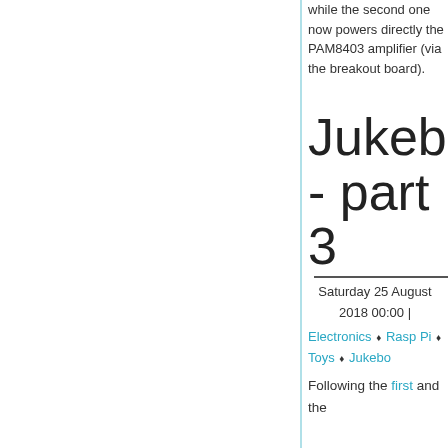while the second one now powers directly the PAM8403 amplifier (via the breakout board).
Jukebox - part 3
Saturday 25 August 2018 00:00 |
Electronics ♦ Raspberry Pi ♦ Toys ♦ Jukebox
Following the first and the